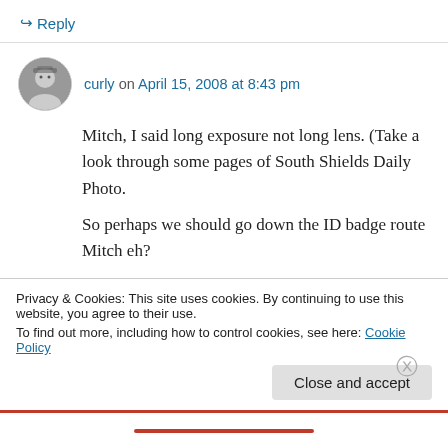↪ Reply
curly on April 15, 2008 at 8:43 pm
Mitch, I said long exposure not long lens. (Take a look through some pages of South Shields Daily Photo.

So perhaps we should go down the ID badge route Mitch eh?

A nice big Red Star for anyone with a Digital SLR, compact digital camera, or camera phone?
Privacy & Cookies: This site uses cookies. By continuing to use this website, you agree to their use.
To find out more, including how to control cookies, see here: Cookie Policy
Close and accept